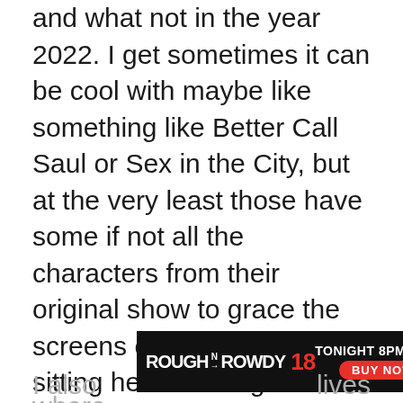and what not in the year 2022. I get sometimes it can be cool with maybe like something like Better Call Saul or Sex in the City, but at the very least those have some if not all the characters from their original show to grace the screens currently. If I'm sitting here thinking about shows that are so beyond iconic like Seinfeld and Friends doing remakes without the original cast it's simply unimaginable. I can't have a random dude trying to be Kramer or even worse some sort of young Kramer? You can't recreate the magic of Joey & Chandler with randoms. And then you'd have to find new Elaines? New Monicas? New Rachels? No one and I mean NO ONE can replace Aniston.
[Figure (other): Advertisement banner for Rough N Rowdy 18, showing 'TONIGHT 8PM ET' and 'BUY NOW' button on dark background]
I also ... lives where ... about